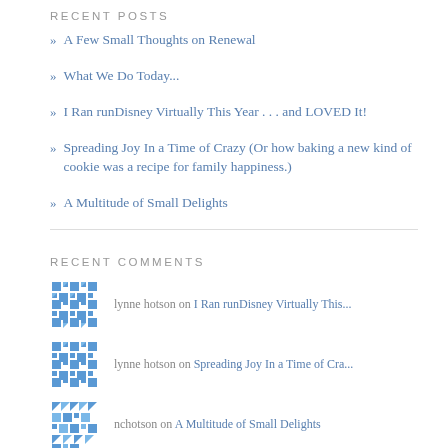RECENT POSTS
A Few Small Thoughts on Renewal
What We Do Today...
I Ran runDisney Virtually This Year . . . and LOVED It!
Spreading Joy In a Time of Crazy (Or how baking a new kind of cookie was a recipe for family happiness.)
A Multitude of Small Delights
RECENT COMMENTS
lynne hotson on I Ran runDisney Virtually This...
lynne hotson on Spreading Joy In a Time of Cra...
nchotson on A Multitude of Small Delights